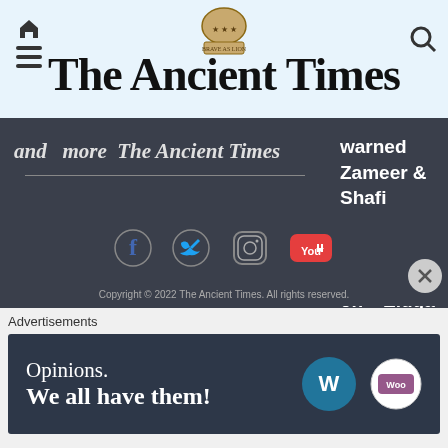The Ancient Times
and more The Ancient Times
warned Zameer & Shafi Sadi cheated muslims on Eidga issue ..! #chamrajpet #eidgah #issue The Ancient Times
[Figure (infographic): Social media icons: Facebook, Twitter, Instagram, YouTube]
Copyright © 2022 The Ancient Times. All rights reserved.
Advertisements
[Figure (infographic): WordPress advertisement banner: Opinions. We all have them! with WordPress and WooCommerce logos]